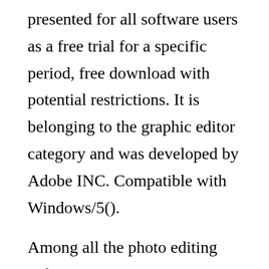presented for all software users as a free trial for a specific period, free download with potential restrictions. It is belonging to the graphic editor category and was developed by Adobe INC. Compatible with Windows/5().
Among all the photo editing software